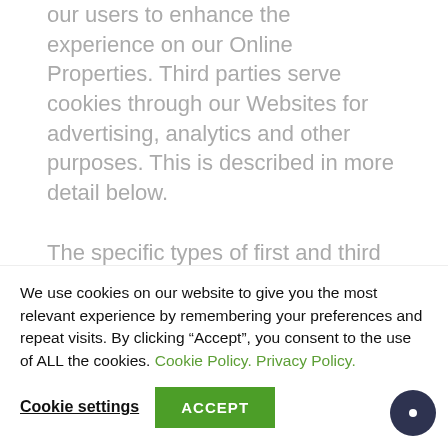our users to enhance the experience on our Online Properties. Third parties serve cookies through our Websites for advertising, analytics and other purposes. This is described in more detail below.
The specific types of first and third party cookies served through our Websites and the purposes they perform are described below (please note that the specific cookies served
We use cookies on our website to give you the most relevant experience by remembering your preferences and repeat visits. By clicking “Accept”, you consent to the use of ALL the cookies. Cookie Policy. Privacy Policy.
Cookie settings  ACCEPT